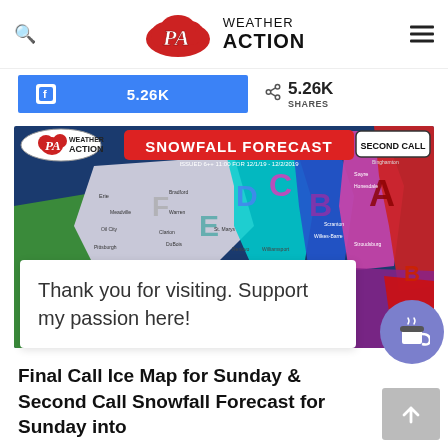[Figure (logo): PA Weather Action logo with red cloud and PA initials, with WEATHER ACTION text]
5.26K
5.26K SHARES
[Figure (map): PA Weather Action Snowfall Forecast Second Call map showing snowfall zones A-F across Pennsylvania region with colored bands]
Thank you for visiting. Support my passion here!
Final Call Ice Map for Sunday & Second Call Snowfall Forecast for Sunday into